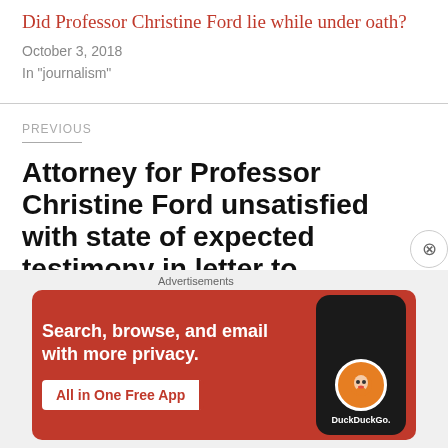Did Professor Christine Ford lie while under oath?
October 3, 2018
In "journalism"
PREVIOUS
Attorney for Professor Christine Ford unsatisfied with state of expected testimony in letter to
[Figure (infographic): DuckDuckGo advertisement banner with orange/red background showing 'Search, browse, and email with more privacy. All in One Free App' with a phone image showing the DuckDuckGo logo]